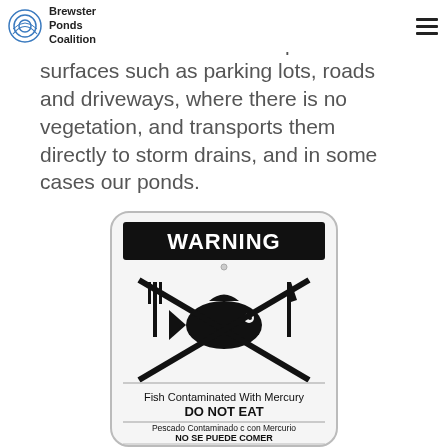Brewster Ponds Coalition
pollutants to be, driveways and transports them directly to storm drains, and in some cases our ponds. contaminants such as oil and pet waste, oils, excess fertilizer and toxic chemicals from the land or air and impervious surfaces such as parking lots, roads and driveways, where there is no vegetation, and transports them directly to storm drains, and in some cases our ponds.
[Figure (photo): A WARNING sign showing a fish with a fork and knife crossed out by diagonal lines, with text: 'Fish Contaminated With Mercury DO NOT EAT', and Spanish text 'Pescado Contaminado c con Mercurio NO SE PUEDE COMER', and Portuguese text 'Peixe Contaminado com Mercúrio NÃO COMER'.]